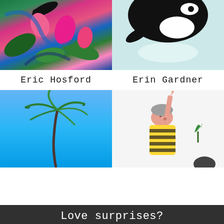[Figure (illustration): Tropical painting with pink flowers, green leaves, and dark bird on swirling blue and pink background]
[Figure (illustration): Close-up of an orca (killer whale) ceramic or felt artwork on pale teal background, showing black and white coloring]
Eric Hosford
Erin Gardner
[Figure (photo): Photo of a tall single palm tree against a clear blue sky with a small crescent moon visible]
[Figure (illustration): Flat cut-out figurine art: a person with grey hair, pink face, yellow and black striped shirt, with green plant piece and dark shape on white background]
Love surprises?